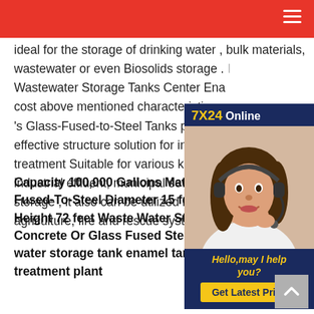ideal for the storage of drinking water , bulk materials, wastewater or even Biosolids storage . Wastewater Storage Tanks Center Enamel cost above mentioned characteristics of 's Glass-Fused-to-Steel Tanks proves it effective structure solution for industrial treatment Suitable for various kind of field industrial effluent, municipal sewage, potable storage , it also can be utilized in power agriculture, fire and rescue system.
[Figure (other): Chat widget with 7X24 Online header in dark navy blue, photo of a woman with headset, Hello may I help you text in yellow, and Get Latest Price button in yellow]
Capacity 100,000 Gallons Material Glass-Fused-To-Steel Diameter 15 feet Peak Height 72 feet Waste Water Storage Tanks Concrete Or Glass Fused Steel waste water storage tank enamel tank sewage treatment plant